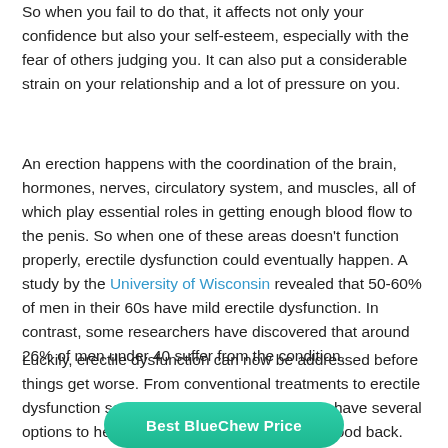So when you fail to do that, it affects not only your confidence but also your self-esteem, especially with the fear of others judging you. It can also put a considerable strain on your relationship and a lot of pressure on you.
An erection happens with the coordination of the brain, hormones, nerves, circulatory system, and muscles, all of which play essential roles in getting enough blood flow to the penis. So when one of these areas doesn't function properly, erectile dysfunction could eventually happen. A study by the University of Wisconsin revealed that 50-60% of men in their 60s have mild erectile dysfunction. In contrast, some researchers have discovered that around 26% of men under 40 suffer from the condition.
Luckily, erectile dysfunction can now be addressed before things get worse. From conventional treatments to erectile dysfunction services like BlueChew, you now have several options to help get your confidence and manhood back.
Best BlueChew Price